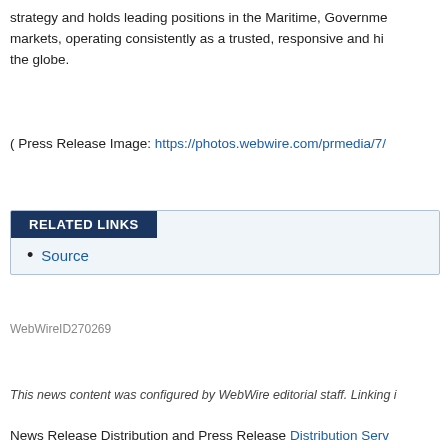strategy and holds leading positions in the Maritime, Government markets, operating consistently as a trusted, responsive and high the globe.
( Press Release Image: https://photos.webwire.com/prmedia/7/
RELATED LINKS
Source
WebWireID270269
This news content was configured by WebWire editorial staff. Linking i
News Release Distribution and Press Release Distribution Serv